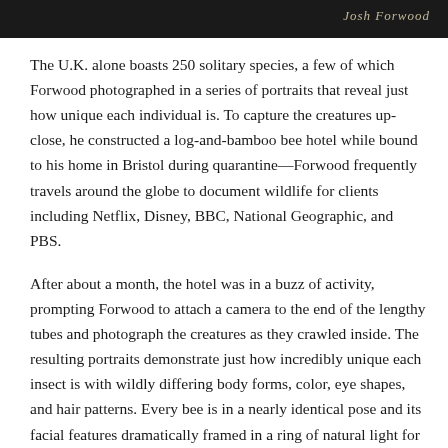[Figure (photo): Dark header image with a handwritten signature watermark reading 'Josh Forwood' in the top right corner]
The U.K. alone boasts 250 solitary species, a few of which Forwood photographed in a series of portraits that reveal just how unique each individual is. To capture the creatures up-close, he constructed a log-and-bamboo bee hotel while bound to his home in Bristol during quarantine—Forwood frequently travels around the globe to document wildlife for clients including Netflix, Disney, BBC, National Geographic, and PBS.
After about a month, the hotel was in a buzz of activity, prompting Forwood to attach a camera to the end of the lengthy tubes and photograph the creatures as they crawled inside. The resulting portraits demonstrate just how incredibly unique each insect is with wildly differing body forms, color, eye shapes, and hair patterns. Every bee is in a nearly identical pose and its facial features dramatically framed in a ring of natural light for comparison, revealing the each insect truly has its own...